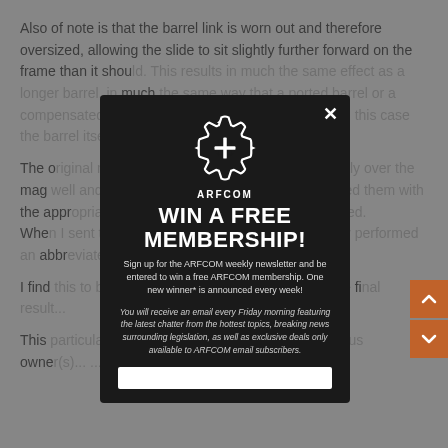Also of note is that the barrel link is worn out and therefore oversized, allowing the slide to sit slightly further forward on the frame than it should. This results in much the same effect as a longer barrel, in much the same way that a ported barrel or a compensated barrel extends the barrel, except that in this case the barrel itself is extended.
The original magazines were out of spec as well, being over the mag well and causing failures to feed. When I replaced the magazines with the appropriate magazines, the failures to feed stopped. When I sent the pistol in to Springfield in August... in an abbreviated manner... arsenal rebuild... level instead.
I find... pistol... en, the fi...
This... owned... etc. have...
[Figure (screenshot): Modal popup overlay on ARFCOM website. Black background modal with ARFCOM gear logo, headline 'WIN A FREE MEMBERSHIP!', subscription sign-up text, and email input field. Close X button in top right. Background shows grey webpage text.]